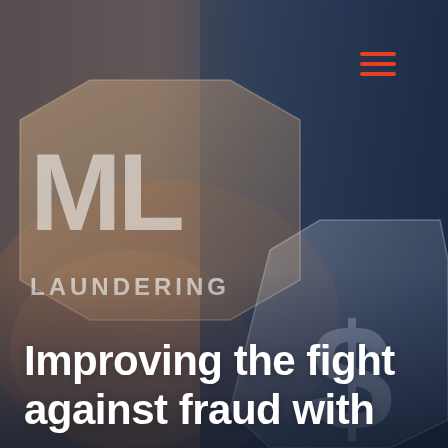[Figure (illustration): Cover image with dark navy blue gradient background on the right side and a blurred photographic scene on the left showing hands and financial symbols. Large hexagonal shapes overlay the image with text 'ML' and 'LAUNDERING' in white/light gray, plus a dollar sign symbol on the right hexagon. The overall color palette is dark blue-gray with warm tan/orange tones from the photo.]
[Figure (other): Hamburger menu icon with three horizontal orange lines in the upper right area of the page.]
Improving the fight against fraud with